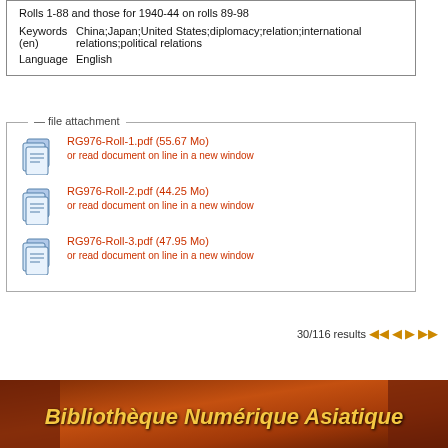| Rolls 1-88 and those for 1940-44 on rolls 89-98 |
| Keywords (en) | China;Japan;United States;diplomacy;relation;international relations;political relations |
| Language | English |
file attachment
RG976-Roll-1.pdf (55.67 Mo)
or read document on line in a new window
RG976-Roll-2.pdf (44.25 Mo)
or read document on line in a new window
RG976-Roll-3.pdf (47.95 Mo)
or read document on line in a new window
30/116 results
[Figure (illustration): Footer banner with ornate orange/red background and text 'Bibliothèque Numérique Asiatique' in gold italic bold font]